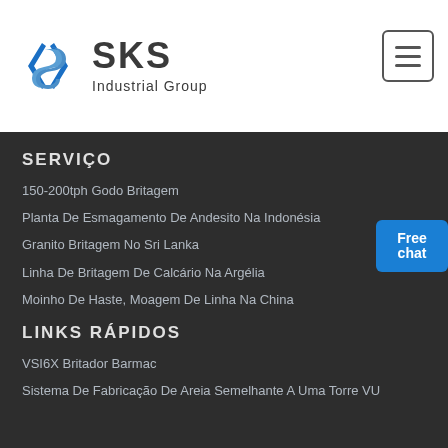[Figure (logo): SKS Industrial Group logo with blue angular S icon and dark text]
SERVIÇO
150-200tph Godo Britagem
Planta De Esmagamento De Andesito Na Indonésia
Granito Britagem No Sri Lanka
Linha De Britagem De Calcário Na Argélia
Moinho De Haste, Moagem De Linha Na China
LINKS RÁPIDOS
VSI6X Britador Barmac
Sistema De Fabricação De Areia Semelhante A Uma Torre VU